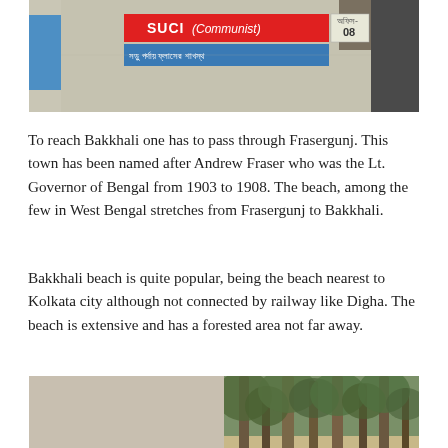[Figure (photo): Photo of a wall with a red SUCI (Communist) party sign with Bengali text below, a numbered white board to the right, blue structure on the left, dark weathered wall on the right.]
To reach Bakkhali one has to pass through Frasergunj. This town has been named after Andrew Fraser who was the Lt. Governor of Bengal from 1903 to 1908. The beach, among the few in West Bengal stretches from Frasergunj to Bakkhali.
Bakkhali beach is quite popular, being the beach nearest to Kolkata city although not connected by railway like Digha. The beach is extensive and has a forested area not far away.
[Figure (photo): Two side-by-side photos: left shows Bakkhali beach at dusk/dawn with silhouetted figures on the sand; right shows a forested area with tall trees and dappled light.]
The Kingfishers feeding on varieties of crabs on the beach is interesting to watch.